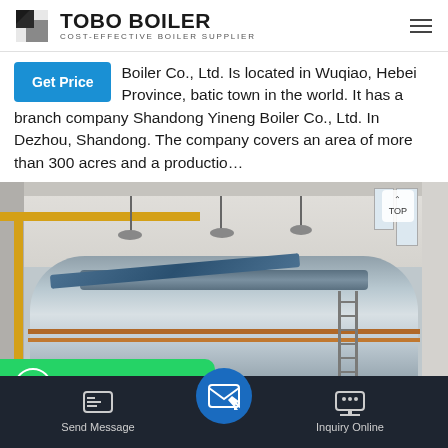TOBO BOILER - COST-EFFECTIVE BOILER SUPPLIER
Boiler Co., Ltd. Is located in Wuqiao, Hebei Province, batic town in the world. It has a branch company Shandong Yineng Boiler Co., Ltd. In Dezhou, Shandong. The company covers an area of more than 300 acres and a productio...
[Figure (photo): Interior of an industrial boiler manufacturing facility showing a large cylindrical boiler unit with overhead crane system, yellow structural girders, ladders, and copper pipes in a factory hall with skylights]
Send Message | Inquiry Online